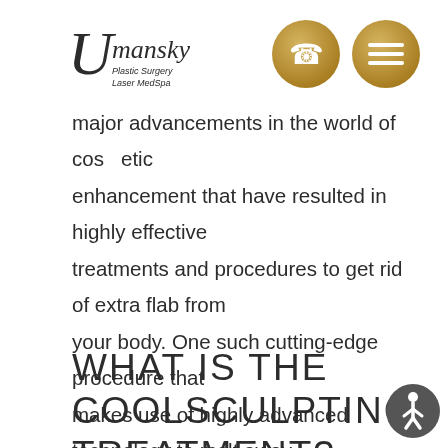[Figure (logo): Umansky Plastic Surgery Laser MedSpa logo in italic script]
[Figure (illustration): Gold circular button with phone icon]
[Figure (illustration): Gold circular button with menu/hamburger icon]
major advancements in the world of cosmetic enhancement that have resulted in highly effective treatments and procedures to get rid of extra flab from your body. One such cutting-edge procedure that makes use of highly advanced technology to melt away the extra pounds is called the CoolSculpting treatment.
WHAT IS THE COOLSCULPTING TREATMENT?
The CoolSculpting treatment is an FDA-approved procedure that employs the use of patented cooling
[Figure (illustration): Accessibility button with person/wheelchair icon]